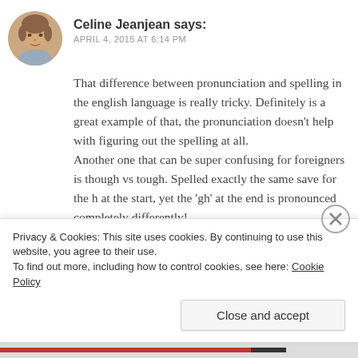[Figure (illustration): Circular avatar photo of a woman (Celine Jeanjean)]
Celine Jeanjean says:
APRIL 4, 2015 AT 6:14 PM
That difference between pronunciation and spelling in the english language is really tricky. Definitely is a great example of that, the pronunciation doesn't help with figuring out the spelling at all.
Another one that can be super confusing for foreigners is though vs tough. Spelled exactly the same save for the h at the start, yet the 'gh' at the end is pronounced completely differently!
Privacy & Cookies: This site uses cookies. By continuing to use this website, you agree to their use.
To find out more, including how to control cookies, see here: Cookie Policy
Close and accept